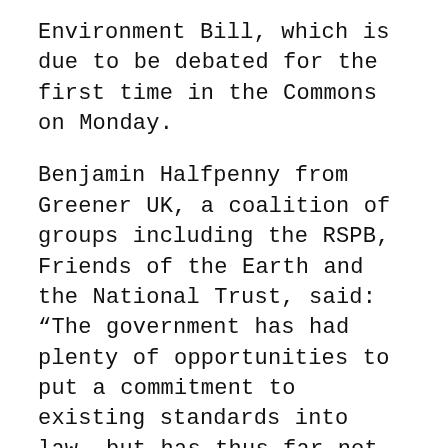Environment Bill, which is due to be debated for the first time in the Commons on Monday.
Benjamin Halfpenny from Greener UK, a coalition of groups including the RSPB, Friends of the Earth and the National Trust, said: “The government has had plenty of opportunities to put a commitment to existing standards into law, but has thus far not done so.
“Such a commitment would not prevent future governments from going further on things like water quality and chemical safety, just